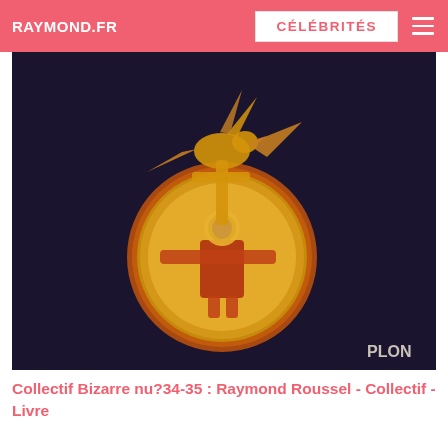RAYMOND.FR | CÉLÉBRITÉS
[Figure (photo): Book cover image showing a medieval-style illustration on dark background: a golden dove/bird figure at top, below it a golden circular medallion with an orange-red border and a central figure of a person with outstretched arms wearing a red robe. Bottom right corner shows the text 'PLON'.]
Collectif Bizarre nu?34-35 : Raymond Roussel - Collectif - Livre